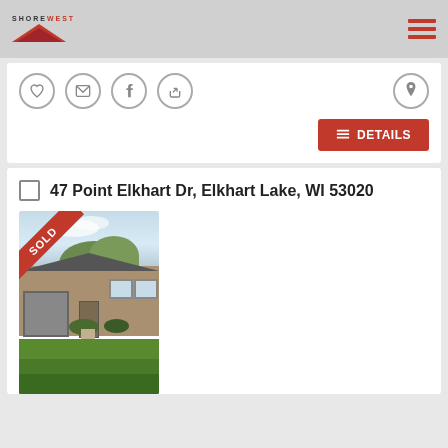Shorewest
[Figure (screenshot): Social sharing icon buttons: heart, email, facebook, share, and map pin location button]
DETAILS
47 Point Elkhart Dr, Elkhart Lake, WI 53020
[Figure (photo): Photo of a residential property at 47 Point Elkhart Dr with a SOLD banner in the upper-left corner. Shows a house with landscaping and green lawn.]